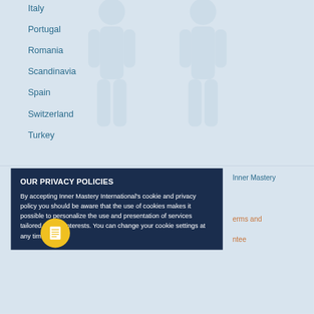Italy
Portugal
Romania
Scandinavia
Spain
Switzerland
Turkey
OUR PRIVACY POLICIES
By accepting Inner Mastery International's cookie and privacy policy you should be aware that the use of cookies makes it possible to personalize the use and presentation of services tailored to your interests. You can change your cookie settings at any time.
Inner Mastery
erms and
ntee